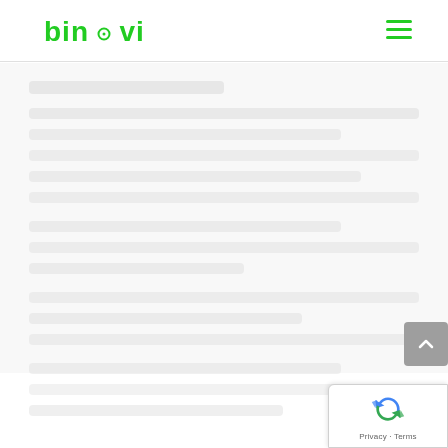binovi
[Figure (screenshot): Blurred/obscured main content area of the binovi website showing indistinct text lines]
[Figure (other): Grey scroll-to-top button with upward chevron arrow]
[Figure (other): Google reCAPTCHA badge with recycling-arrow logo and Privacy - Terms text]